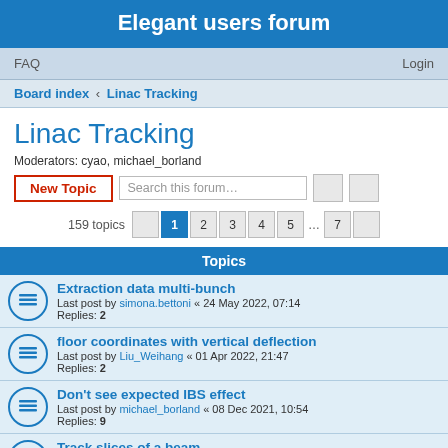Elegant users forum
FAQ  Login
Board index › Linac Tracking
Linac Tracking
Moderators: cyao, michael_borland
New Topic  Search this forum…  159 topics  1 2 3 4 5 … 7
Topics
Extraction data multi-bunch
Last post by simona.bettoni « 24 May 2022, 07:14
Replies: 2
floor coordinates with vertical deflection
Last post by Liu_Weihang « 01 Apr 2022, 21:47
Replies: 2
Don't see expected IBS effect
Last post by michael_borland « 08 Dec 2021, 10:54
Replies: 9
Track slices of a beam
Last post by michael_borland « 15 Nov 2021, 14:21
Replies: 1